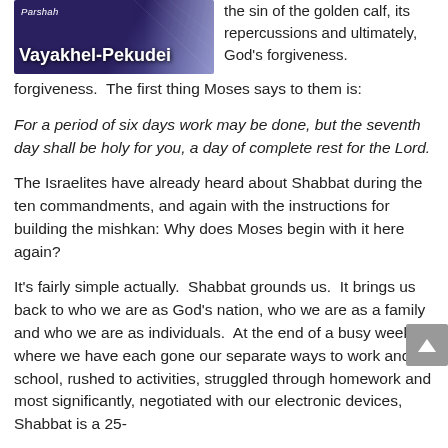[Figure (illustration): Book cover image for Parshah Vayakhel-Pekudei with blue/purple background and white bold text]
the sin of the golden calf, its repercussions and ultimately, God's forgiveness. The first thing Moses says to them is:
For a period of six days work may be done, but the seventh day shall be holy for you, a day of complete rest for the Lord.
The Israelites have already heard about Shabbat during the ten commandments, and again with the instructions for building the mishkan: Why does Moses begin with it here again?
It's fairly simple actually. Shabbat grounds us. It brings us back to who we are as God's nation, who we are as a family and who we are as individuals. At the end of a busy week, where we have each gone our separate ways to work and school, rushed to activities, struggled through homework and most significantly, negotiated with our electronic devices, Shabbat is a 25-